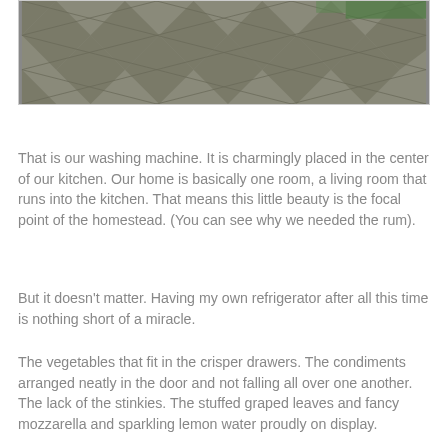[Figure (photo): Photo of a tiled floor with diamond/checkerboard pattern in grays, with what appears to be a washing machine or appliance partially visible]
That is our washing machine. It is charmingly placed in the center of our kitchen. Our home is basically one room, a living room that runs into the kitchen. That means this little beauty is the focal point of the homestead. (You can see why we needed the rum).
But it doesn't matter. Having my own refrigerator after all this time is nothing short of a miracle.
The vegetables that fit in the crisper drawers. The condiments arranged neatly in the door and not falling all over one another. The lack of the stinkies. The stuffed graped leaves and fancy mozzarella and sparkling lemon water proudly on display.